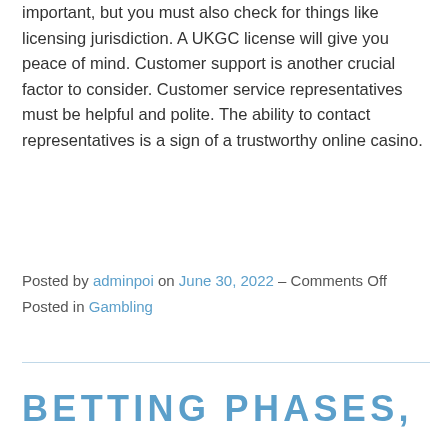important, but you must also check for things like licensing jurisdiction. A UKGC license will give you peace of mind. Customer support is another crucial factor to consider. Customer service representatives must be helpful and polite. The ability to contact representatives is a sign of a trustworthy online casino.
Posted by adminpoi on June 30, 2022 – Comments Off
Posted in Gambling
BETTING PHASES,